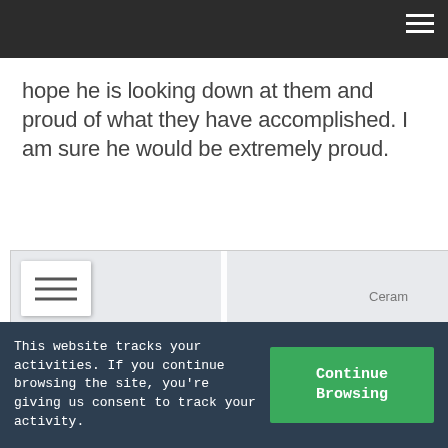hope he is looking down at them and proud of what they have accomplished. I am sure he would be extremely proud.
[Figure (map): Google Maps screenshot showing the location of Free State Cellars near Peaceful Acres and Adams Bayou. A yellow/orange map pin marks Free State Cellars. Blue waterways visible. Text labels: Peaceful Acres, Adams Bayou, Wilcox Market G, Ceram, s Rd.]
This website tracks your activities. If you continue browsing the site, you're giving us consent to track your activity.
Continue Browsing